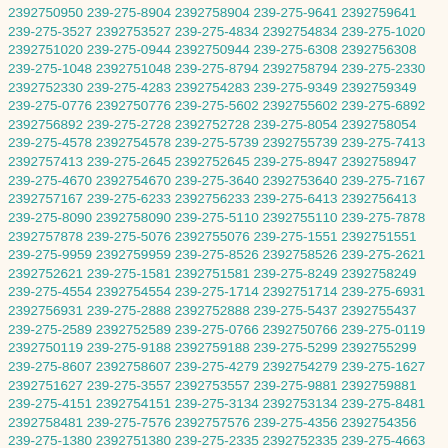2392750950 239-275-8904 2392758904 239-275-9641 2392759641 239-275-3527 2392753527 239-275-4834 2392754834 239-275-1020 2392751020 239-275-0944 2392750944 239-275-6308 2392756308 239-275-1048 2392751048 239-275-8794 2392758794 239-275-2330 2392752330 239-275-4283 2392754283 239-275-9349 2392759349 239-275-0776 2392750776 239-275-5602 2392755602 239-275-6892 2392756892 239-275-2728 2392752728 239-275-8054 2392758054 239-275-4578 2392754578 239-275-5739 2392755739 239-275-7413 2392757413 239-275-2645 2392752645 239-275-8947 2392758947 239-275-4670 2392754670 239-275-3640 2392753640 239-275-7167 2392757167 239-275-6233 2392756233 239-275-6413 2392756413 239-275-8090 2392758090 239-275-5110 2392755110 239-275-7878 2392757878 239-275-5076 2392755076 239-275-1551 2392751551 239-275-9959 2392759959 239-275-8526 2392758526 239-275-2621 2392752621 239-275-1581 2392751581 239-275-8249 2392758249 239-275-4554 2392754554 239-275-1714 2392751714 239-275-6931 2392756931 239-275-2888 2392752888 239-275-5437 2392755437 239-275-2589 2392752589 239-275-0766 2392750766 239-275-0119 2392750119 239-275-9188 2392759188 239-275-5299 2392755299 239-275-8607 2392758607 239-275-4279 2392754279 239-275-1627 2392751627 239-275-3557 2392753557 239-275-9881 2392759881 239-275-4151 2392754151 239-275-3134 2392753134 239-275-8481 2392758481 239-275-7576 2392757576 239-275-4356 2392754356 239-275-1380 2392751380 239-275-2335 2392752335 239-275-4663 2392754663 239-275-3558 2392753558 239-275-0703 2392750703 239-275-4708 2392754708 239-275-3001 2392753001 239-275-3764 2392753764 239-275-8928 2392758928 239-275-0676 2392750676 239-